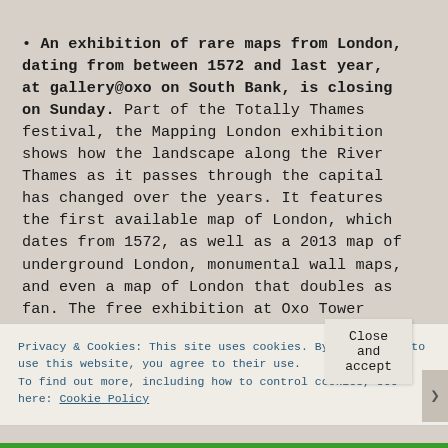• An exhibition of rare maps from London, dating from between 1572 and last year, at gallery@oxo on South Bank, is closing on Sunday. Part of the Totally Thames festival, the Mapping London exhibition shows how the landscape along the River Thames as it passes through the capital has changed over the years. It features the first available map of London, which dates from 1572, as well as a 2013 map of underground London, monumental wall maps, and even a map of London that doubles as fan. The free exhibition at Oxo Tower Wharf is being curated by Daniel Crouch, one of the world's leading map dealers.
Privacy & Cookies: This site uses cookies. By continuing to use this website, you agree to their use. To find out more, including how to control cookies, see here: Cookie Policy
Close and accept